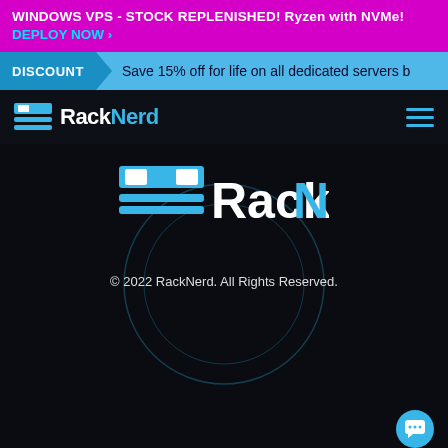WINDOWS VPS - STOCK REPLENISHED! Ryzen with NVMe! DEPLOY NOW ›
DISCOUNT  Save 15% off for life on all dedicated servers b
[Figure (logo): RackNerd logo in navigation bar with hamburger menu icon]
[Figure (logo): Large RackNerd logo centered on dark background with circular decoration]
© 2022 RackNerd. All Rights Reserved.